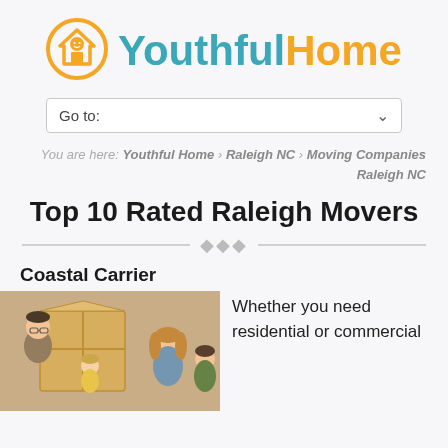[Figure (logo): YouthfulHome logo with orange circle home icon and teal/orange wordmark]
Go to:
You are here: Youthful Home › Raleigh NC › Moving Companies Raleigh NC
Top 10 Rated Raleigh Movers
Coastal Carrier
[Figure (photo): Family with moving boxes, smiling]
Whether you need residential or commercial